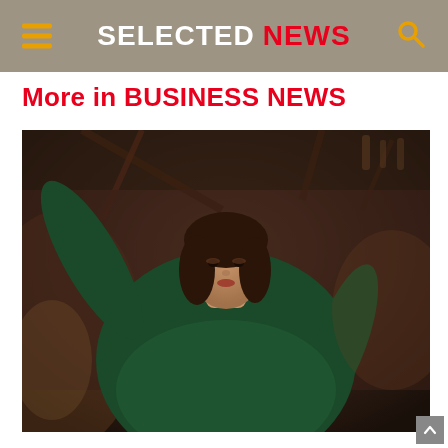SELECTED NEWS
More in BUSINESS NEWS
[Figure (photo): A young woman in a dark green long-sleeve top posing with arms raised, photographed in a warmly-lit indoor setting with dark wooden decor and glassware in the background.]